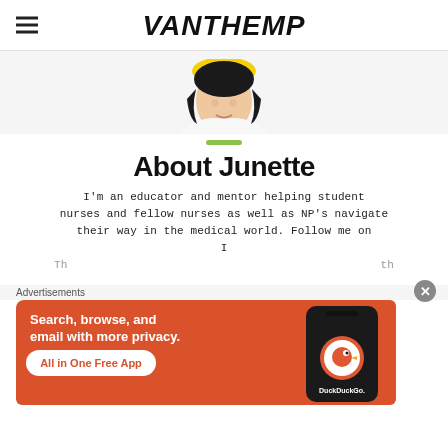VANTHEMP
[Figure (photo): Circular cropped profile photo of a young Asian woman with dark hair wearing a white top, yellow accessories visible at top]
About Junette
I'm an educator and mentor helping student nurses and fellow nurses as well as NP's navigate their way in the medical world. Follow me on I...
Advertisements
[Figure (screenshot): DuckDuckGo advertisement banner on orange-red background: 'Search, browse, and email with more privacy. All in One Free App' with a phone mockup showing DuckDuckGo logo]